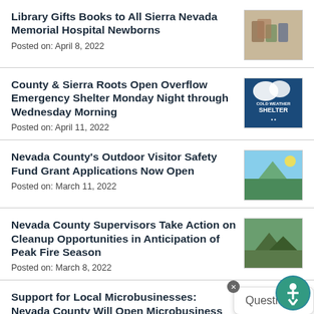Library Gifts Books to All Sierra Nevada Memorial Hospital Newborns
Posted on: April 8, 2022
County & Sierra Roots Open Overflow Emergency Shelter Monday Night through Wednesday Morning
Posted on: April 11, 2022
Nevada County's Outdoor Visitor Safety Fund Grant Applications Now Open
Posted on: March 11, 2022
Nevada County Supervisors Take Action on Cleanup Opportunities in Anticipation of Peak Fire Season
Posted on: March 8, 2022
Support for Local Microbusinesses: Nevada County Will Open Microbusiness Grants on
[Figure (photo): Books and gift items for newborns]
[Figure (photo): Cold Weather Shelter sign/poster in blue]
[Figure (photo): Outdoor nature/hiking scene]
[Figure (photo): Forest/fire season landscape]
[Figure (photo): Microbusiness Grants graphic]
[Figure (logo): Accessibility icon - person in circle with mountain background]